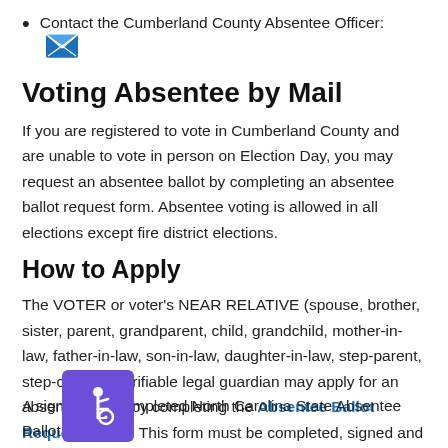Contact the Cumberland County Absentee Officer: [email icon]
Voting Absentee by Mail
If you are registered to vote in Cumberland County and are unable to vote in person on Election Day, you may request an absentee ballot by completing an absentee ballot request form. Absentee voting is allowed in all elections except fire district elections.
How to Apply
The VOTER or voter's NEAR RELATIVE (spouse, brother, sister, parent, grandparent, child, grandchild, mother-in-law, father-in-law, son-in-law, daughter-in-law, step-parent, step-child) or verifiable legal guardian may apply for an absentee ballot by completing the Absentee Ballot Request Form.  This form must be completed, signed and returned to our office before we can send out an absentee ballot. Your request may be submitted by mail or in person. You may also use the NC State Board Po...
[Figure (illustration): Purple accessibility widget icon showing wheelchair user symbol]
A signed and completed North Carolina State Absentee Ballot Request